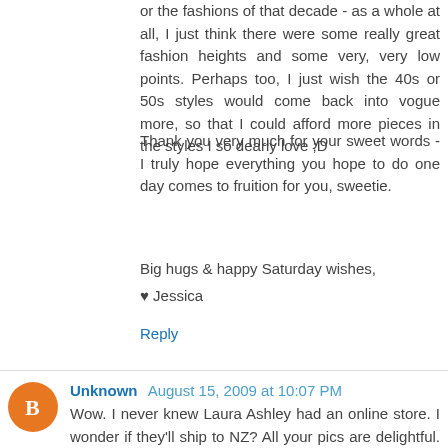or the fashions of that decade - as a whole at all, I just think there were some really great fashion heights and some very, very low points. Perhaps too, I just wish the 40s or 50s styles would come back into vogue more, so that I could afford more pieces in the styles I so dearly love ;D
Thank you very much for your sweet words - I truly hope everything you hope to do one day comes to fruition for you, sweetie.
Big hugs & happy Saturday wishes,
♥ Jessica
Reply
Unknown August 15, 2009 at 10:07 PM
Wow. I never knew Laura Ashley had an online store. I wonder if they'll ship to NZ? All your pics are delightful. My favourite is the purple dress. I love floral prints so I'm still very appreciative of vintage Laura Ashley dresses. Sometimes all they need is a shorter hem, a change in